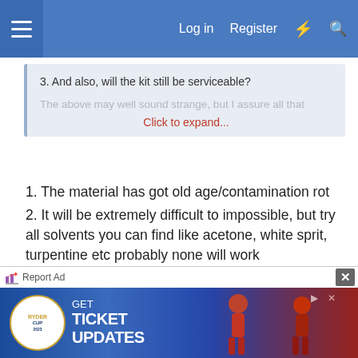Log in  Register
3. And also, will the kit still be serviceable?

The above may well sound strange, but I assure all that
Click to expand...
1. The material has got old age/contamination rot
2. It will be extremely difficult to impossible, but try all solvents you can find like acetone, white sprit, turpentine etc probably none will work
3) maybe
if the layer of rot is thin try talcum powder.
I know it's real things like that happen quite quickly here. One thing that may help is to keep plastic items
[Figure (screenshot): Advertisement banner for Ryder Cup ticket updates, showing logo, text GET TICKET UPDATES, and golfer photos]